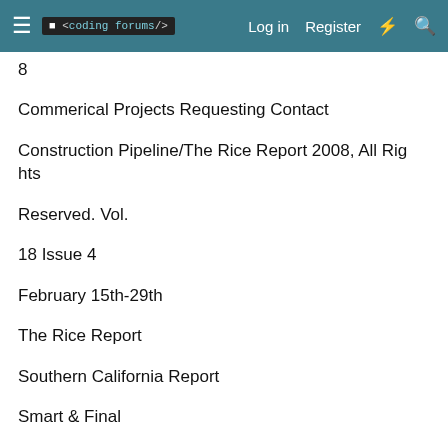≡ <coding forums/> Log in Register ⚡ 🔍
8
Commerical Projects Requesting Contact Construction Pipeline/The Rice Report 2008, All Rights Reserved. Vol. 18 Issue 4 February 15th-29th The Rice Report Southern California Report Smart & Final Retail Bellflower Retail TI, 10,000 SQFT Tower Engineering 9130 Glen Oak Blvd Sun Valley, CA 91352 (818) 768-3530 (818) 768-3534 FAX NEGOTIATING TRADES: All trades